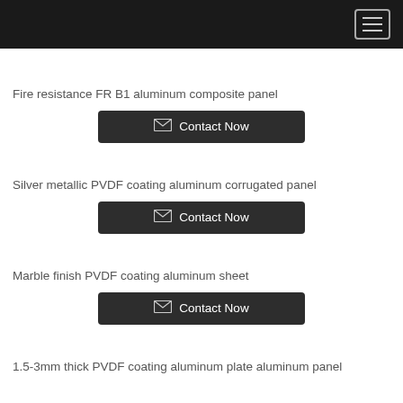Fire resistance FR B1 aluminum composite panel
Contact Now
Silver metallic PVDF coating aluminum corrugated panel
Contact Now
Marble finish PVDF coating aluminum sheet
Contact Now
1.5-3mm thick PVDF coating aluminum plate aluminum panel